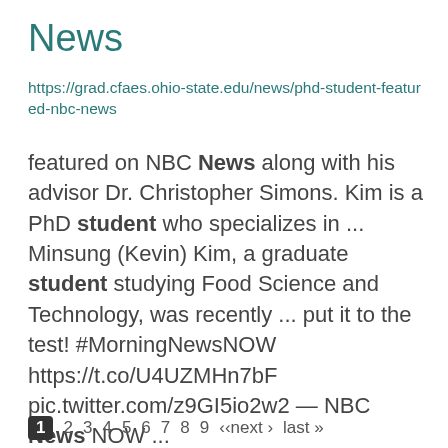News
https://grad.cfaes.ohio-state.edu/news/phd-student-featured-nbc-news
featured on NBC News along with his advisor Dr. Christopher Simons. Kim is a PhD student who specializes in ... Minsung (Kevin) Kim, a graduate student studying Food Science and Technology, was recently ... put it to the test! #MorningNewsNOW https://t.co/U4UZMHn7bF pic.twitter.com/z9GI5io2w2 — NBC News NOW ...
1  2  3  4  5  6  7  8  9  ‹‹next ›  last »